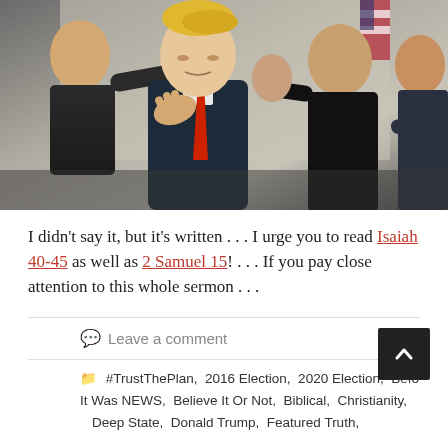[Figure (photo): A group of men in suits laying hands on a central man in a dark suit with a red tie, appearing to pray over him. An American flag is visible in the background.]
I didn't say it, but it's written . . . I urge you to read Isaiah 40-45 as well as 2 Samuel 15! . . . If you pay close attention to this whole sermon . . .
Leave a comment
#TrustThePlan,  2016 Election,  2020 Election,  Before It Was NEWS,  Believe It Or Not,  Biblical,  Christianity,  Deep State,  Donald Trump,  Featured Truth,